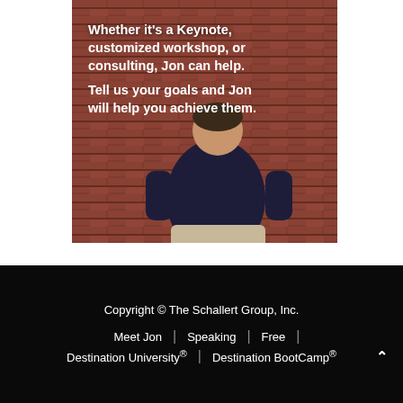[Figure (photo): Photo of a person (Jon) leaning against a red brick wall, wearing a dark shirt and light khaki pants, with white text overlay reading: 'Whether it's a Keynote, customized workshop, or consulting, Jon can help. Tell us your goals and Jon will help you achieve them.']
Copyright © The Schallert Group, Inc. | Meet Jon | Speaking | Free | Destination University® | Destination BootCamp®